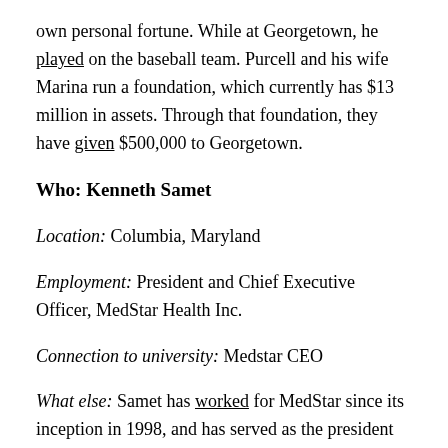own personal fortune. While at Georgetown, he played on the baseball team. Purcell and his wife Marina run a foundation, which currently has $13 million in assets. Through that foundation, they have given $500,000 to Georgetown.
Who: Kenneth Samet
Location: Columbia, Maryland
Employment: President and Chief Executive Officer, MedStar Health Inc.
Connection to university: Medstar CEO
What else: Samet has worked for MedStar since its inception in 1998, and has served as the president since 2008. He has held a variety of leadership positions in